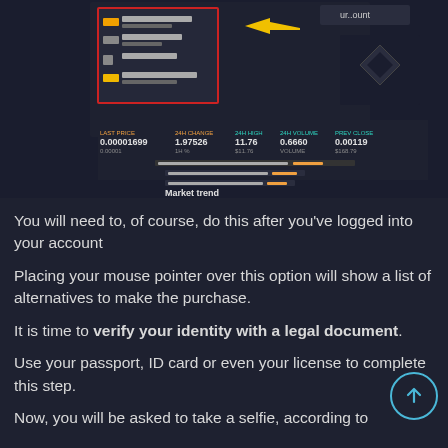[Figure (screenshot): Dark-themed cryptocurrency exchange interface screenshot showing a trading dashboard with menu items, market data (0.00001699, 1.97526, 11.76, 0.6660, 0.00119), a yellow arrow annotation, and a 'Market trend' label at the bottom. Red-bordered dropdown menu visible on the left side.]
You will need to, of course, do this after you've logged into your account
Placing your mouse pointer over this option will show a list of alternatives to make the purchase.
It is time to verify your identity with a legal document.
Use your passport, ID card or even your license to complete this step.
Now, you will be asked to take a selfie, according to the platform's instructions...